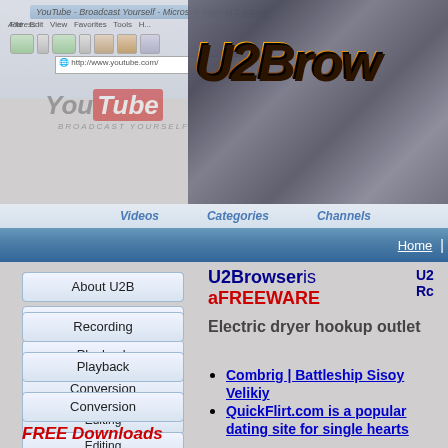[Figure (screenshot): Screenshot of YouTube website in Microsoft Internet Explorer browser with U2Browser logo overlay]
[Figure (logo): U2Browser logo with gold/brown gradient 3D text]
Videos   Categories   Channels
Home
About U2B
Recording
Playback
Conversion
Editing
Animated GIFs
Stabilizing
U2Browser is a FREEWARE
Electric dryer hookup outlet
Combrig | Battleship Sisoy Velikiy
QuickFlirt.com is a popular dating site for single hearts
FREE Downloads